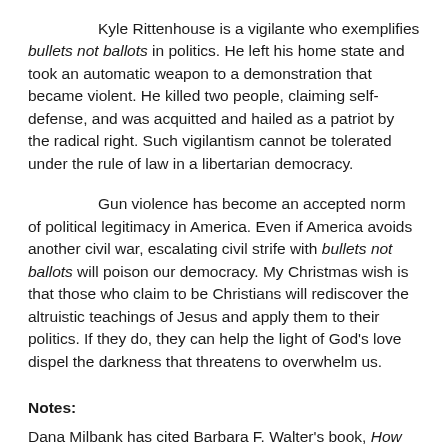Kyle Rittenhouse is a vigilante who exemplifies bullets not ballots in politics. He left his home state and took an automatic weapon to a demonstration that became violent. He killed two people, claiming self-defense, and was acquitted and hailed as a patriot by the radical right. Such vigilantism cannot be tolerated under the rule of law in a libertarian democracy.
Gun violence has become an accepted norm of political legitimacy in America. Even if America avoids another civil war, escalating civil strife with bullets not ballots will poison our democracy. My Christmas wish is that those who claim to be Christians will rediscover the altruistic teachings of Jesus and apply them to their politics. If they do, they can help the light of God's love dispel the darkness that threatens to overwhelm us.
Notes:
Dana Milbank has cited Barbara F. Walter's book, How Civil Wars Start, as evidence that "We are closer to civil war than any of us